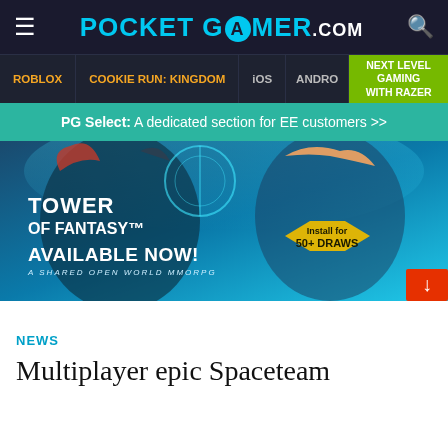POCKET GAMER.com
ROBLOX | COOKIE RUN: KINGDOM | iOS | ANDRO | NEXT LEVEL GAMING WITH RAZER
PG Select: A dedicated section for EE customers >>
[Figure (illustration): Tower of Fantasy game advertisement banner showing anime characters, with text 'Tower of Fantasy - Available Now! A Shared Open World MMORPG' and 'Install for 50+ Draws' button with red download arrow]
NEWS
Multiplayer epic Spaceteam